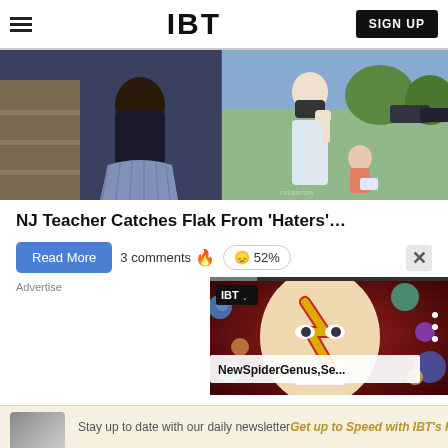IBT   SIGN UP
[Figure (photo): Split image: left side shows a woman in black turtleneck and blue pleated skirt; right side shows a masked person giving thumbs up with a child reading outdoors]
NJ Teacher Catches Flak From 'Haters'…
Read More   3 comments 🔥   😞 52%
Advertise
[Figure (screenshot): IBT video overlay showing a colorful face-painted person (David Bowie style) with title 'NewSpiderGenus,Se...' and progress bar at top]
Stay up to date with our daily newsletter   Get up to Speed with IBT's Fast Start